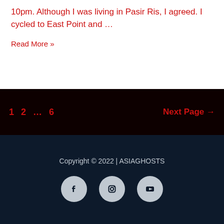10pm. Although I was living in Pasir Ris, I agreed. I cycled to East Point and …
Read More »
1 2 … 6 Next Page →
Copyright © 2022 | ASIAGHOSTS